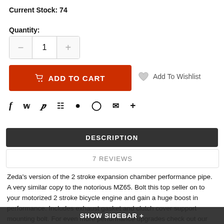Current Stock: 74
Quantity:
ADD TO CART
Add To Wishlist
f  y  p  ## ♦ O  ✉  +
DESCRIPTION
7 REVIEWS
Zeda's version of the 2 stroke expansion chamber performance pipe. A very similar copy to the notorious MZ65. Bolt this top seller on to your motorized 2 stroke bicycle engine and gain a huge boost in performance. Includes exhaust gasket and clutch cover support mounting bolt. For even more performance upgrades check out our BIG Upgrade kits, performance CDI and
SHOW SIDEBAR +